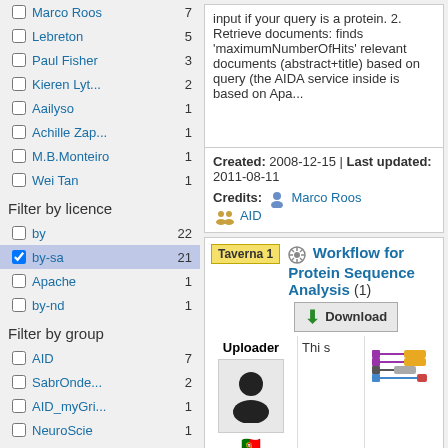Marco Roos 7
Lebreton 5
Paul Fisher 3
Kieren Lyt... 2
Aailyso 1
Achille Zap... 1
M.B.Monteiro 1
Wei Tan 1
Filter by licence
by 22
by-sa 21 (selected)
Apache 1
by-nd 1
Filter by group
AID 7
SabrOnde... 2
AID_myGri... 1
NeuroScie 1
input if your query is a protein. 2. Retrieve documents: finds 'maximumNumberOfHits' relevant documents (abstract+title) based on query (the AIDA service inside is based on Apa...
Created: 2008-12-15 | Last updated: 2011-08-11
Credits: Marco Roos AID
Workflow for Protein Sequence Analysis (1)
Taverna 1 Uploader M.B.Mon... Download This s